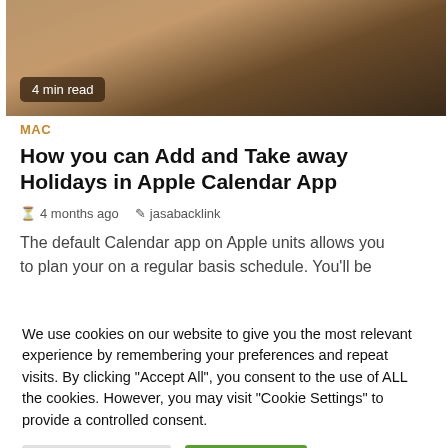[Figure (photo): Close-up photo of a hand holding a smartphone, warm brown tones. Badge overlay reads '4 min read'.]
4 min read
MAC
How you can Add and Take away Holidays in Apple Calendar App
4 months ago   jasabacklink
The default Calendar app on Apple units allows you to plan your on a regular basis schedule. You'll be
We use cookies on our website to give you the most relevant experience by remembering your preferences and repeat visits. By clicking "Accept All", you consent to the use of ALL the cookies. However, you may visit "Cookie Settings" to provide a controlled consent.